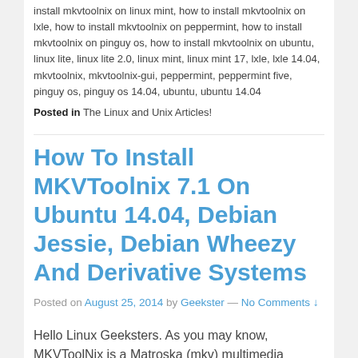install mkvtoolnix on linux mint, how to install mkvtoolnix on lxle, how to install mkvtoolnix on peppermint, how to install mkvtoolnix on pinguy os, how to install mkvtoolnix on ubuntu, linux lite, linux lite 2.0, linux mint, linux mint 17, lxle, lxle 14.04, mkvtoolnix, mkvtoolnix-gui, peppermint, peppermint five, pinguy os, pinguy os 14.04, ubuntu, ubuntu 14.04
Posted in The Linux and Unix Articles!
How To Install MKVToolnix 7.1 On Ubuntu 14.04, Debian Jessie, Debian Wheezy And Derivative Systems
Posted on August 25, 2014 by Geekster — No Comments ↓
Hello Linux Geeksters. As you may know, MKVToolNix is a Matroska (mkv) multimedia manipulation tool pack. You can edit mkv video files, split files, sync audio with video. It contains the following command-line tools: mkvmerge – a tool for creating …